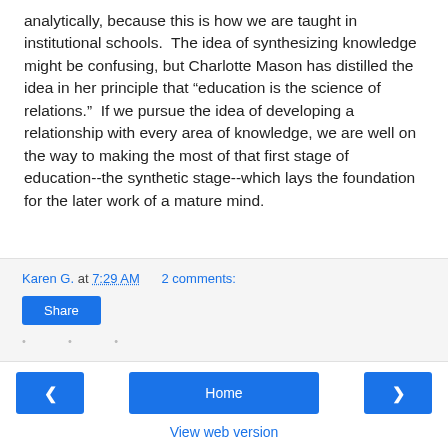analytically, because this is how we are taught in institutional schools. The idea of synthesizing knowledge might be confusing, but Charlotte Mason has distilled the idea in her principle that "education is the science of relations." If we pursue the idea of developing a relationship with every area of knowledge, we are well on the way to making the most of that first stage of education--the synthetic stage--which lays the foundation for the later work of a mature mind.
Karen G. at 7:29 AM    2 comments:
Share
◄
Home
►
View web version
Powered by Blogger.